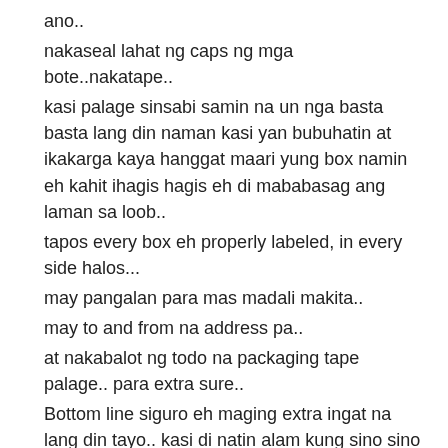ano..
nakaseal lahat ng caps ng mga bote..nakatape..
kasi palage sinsabi samin na un nga basta basta lang din naman kasi yan bubuhatin at ikakarga kaya hanggat maari yung box namin eh kahit ihagis hagis eh di mababasag ang laman sa loob..
tapos every box eh properly labeled, in every side halos...
may pangalan para mas madali makita..
may to and from na address pa..
at nakabalot ng todo na packaging tape palage.. para extra sure..
Bottom line siguro eh maging extra ingat na lang din tayo.. kasi di natin alam kung sino sino kamay ang hahawak ng box natin..
di natin kasi alam kung sino ang maingat at hindi.